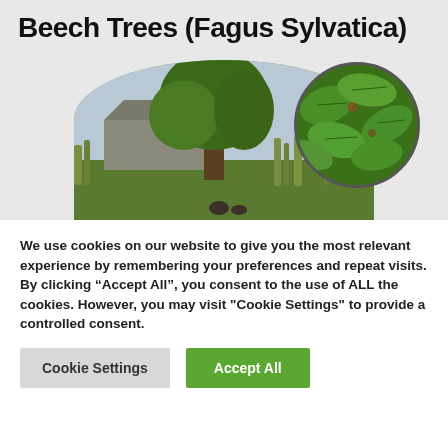Beech Trees (Fagus Sylvatica)
[Figure (photo): A beech tree in a garden/nursery setting shown in a large half-circle cropped photo, with an overlapping circular inset showing a close-up of beech leaves (Fagus Sylvatica).]
We use cookies on our website to give you the most relevant experience by remembering your preferences and repeat visits. By clicking “Accept All”, you consent to the use of ALL the cookies. However, you may visit "Cookie Settings" to provide a controlled consent.
Cookie Settings
Accept All